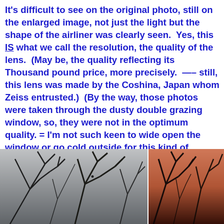It's difficult to see on the original photo, still on the enlarged image, not just the light but the shape of the airliner was clearly seen.  Yes, this IS what we call the resolution, the quality of the lens.  (May be, the quality reflecting its Thousand pound price, more precisely.  —– still, this lens was made by the Coshina, Japan whom Zeiss entrusted.)  (By the way, those photos were taken through the dusty double grazing window, so, they were not in the optimum quality. = I'm not such keen to wide open the window or go cold outside for this kind of shooting. — sorry, lazzy me.)
[Figure (photo): Two side-by-side photos of bare tree branches. Left photo shows dark silhouetted branches against a grey overcast sky with a tiny dark speck (airliner) visible. Right photo shows similar bare branches silhouetted against a warm reddish-orange sunset sky.]